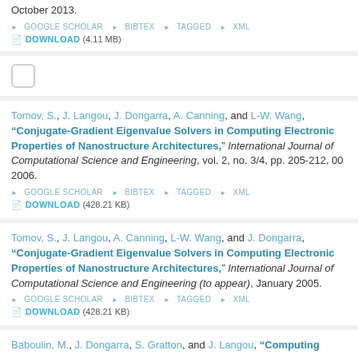October 2013.
GOOGLE SCHOLAR  BIBTEX  TAGGED  XML
DOWNLOAD (4.11 MB)
Tomov, S., J. Langou, J. Dongarra, A. Canning, and L-W. Wang, "Conjugate-Gradient Eigenvalue Solvers in Computing Electronic Properties of Nanostructure Architectures," International Journal of Computational Science and Engineering, vol. 2, no. 3/4, pp. 205-212, 00 2006.
GOOGLE SCHOLAR  BIBTEX  TAGGED  XML
DOWNLOAD (428.21 KB)
Tomov, S., J. Langou, A. Canning, L-W. Wang, and J. Dongarra, "Conjugate-Gradient Eigenvalue Solvers in Computing Electronic Properties of Nanostructure Architectures," International Journal of Computational Science and Engineering (to appear), January 2005.
GOOGLE SCHOLAR  BIBTEX  TAGGED  XML
DOWNLOAD (428.21 KB)
Baboulin, M., J. Dongarra, S. Gratton, and J. Langou, "Computing